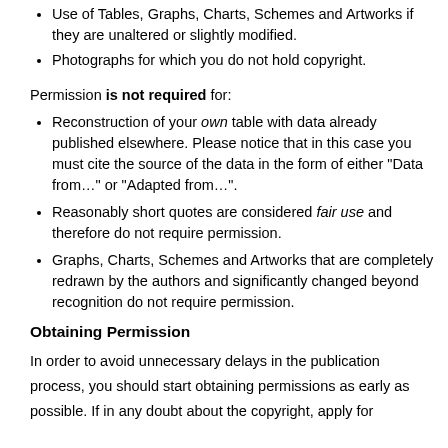Use of Tables, Graphs, Charts, Schemes and Artworks if they are unaltered or slightly modified.
Photographs for which you do not hold copyright.
Permission is not required for:
Reconstruction of your own table with data already published elsewhere. Please notice that in this case you must cite the source of the data in the form of either "Data from..." or "Adapted from...".
Reasonably short quotes are considered fair use and therefore do not require permission.
Graphs, Charts, Schemes and Artworks that are completely redrawn by the authors and significantly changed beyond recognition do not require permission.
Obtaining Permission
In order to avoid unnecessary delays in the publication process, you should start obtaining permissions as early as possible. If in any doubt about the copyright, apply for